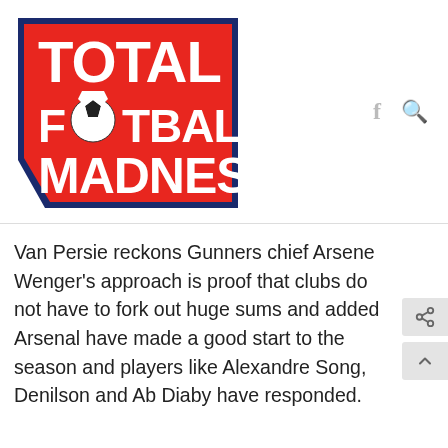[Figure (logo): Total Football Madness logo — red trapezoid shape with dark navy blue border, white bold text reading TOTAL FOOTBALL MADNESS with a soccer ball replacing the O in FOOTBALL]
Van Persie reckons Gunners chief Arsene Wenger's approach is proof that clubs do not have to fork out huge sums and added Arsenal have made a good start to the season and players like Alexandre Song, Denilson and Ab Diaby have responded.